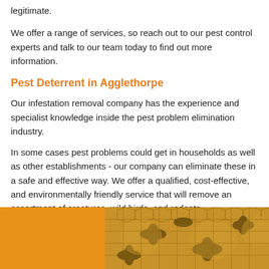legitimate.
We offer a range of services, so reach out to our pest control experts and talk to our team today to find out more information.
Pest Deterrent in Agglethorpe
Our infestation removal company has the experience and specialist knowledge inside the pest problem elimination industry.
In some cases pest problems could get in households as well as other establishments - our company can eliminate these in a safe and effective way. We offer a qualified, cost-effective, and environmentally friendly service that will remove an assortment of creatures, wild birds, and rodents.
To prevent even more issues from transpiring at your house or commercial establishment, you'll want to take care of the pests right away.
[Figure (photo): Photo showing honeybees on honeycomb, with an orange/amber colored left panel and a close-up bee/honeycomb image on the right.]